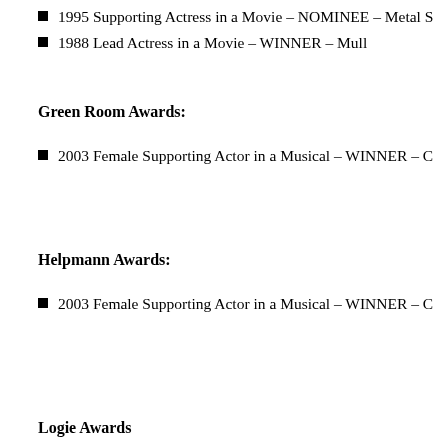1995 Supporting Actress in a Movie – NOMINEE – Metal S
1988 Lead Actress in a Movie – WINNER – Mull
Green Room Awards:
2003 Female Supporting Actor in a Musical – WINNER – C
Helpmann Awards:
2003 Female Supporting Actor in a Musical – WINNER – C
Logie Awards